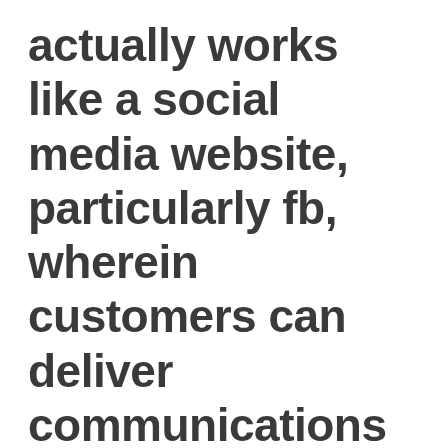actually works like a social media website, particularly fb, wherein customers can deliver communications and email messages together free of charge. PlentyOfFish (POF) is actually a totally free